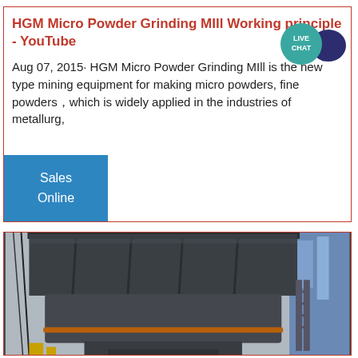HGM Micro Powder Grinding MIll Working principle - YouTube
Aug 07, 2015· HGM Micro Powder Grinding MIll is the new type mining equipment for making micro powders, fine powders，which is widely applied in the industries of metallurg,
[Figure (other): Live Chat speech bubble icon in dark navy/purple color with a teal circular badge labeled LIVE CHAT]
Sales Online
[Figure (photo): Industrial grinding mill equipment photographed from below/side angle showing large dark grey metal housing structure with railings on top and industrial facility background]